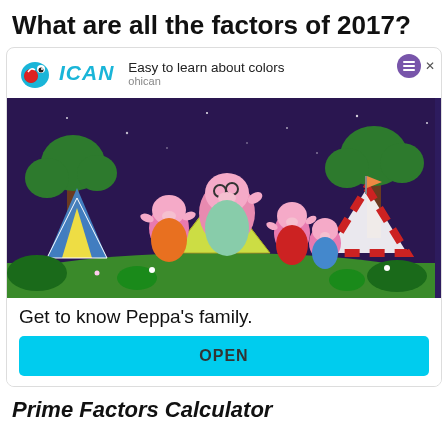What are all the factors of 2017?
[Figure (infographic): Advertisement banner for ICAN app featuring Peppa Pig family camping at night scene. Shows logo with cartoon face and ICAN text, headline 'Easy to learn about colors', subtext 'ohican', image of Peppa Pig characters camping under stars, tagline 'Get to know Peppa's family.', and an OPEN button.]
Prime Factors Calculator